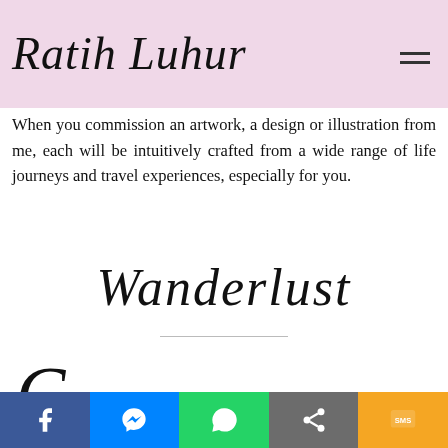Ratih Luhur
When you commission an artwork, a design or illustration from me, each will be intuitively crafted from a wide range of life journeys and travel experiences, especially for you.
Wanderlust
Currently based in Germany, I am fulfilling my wanderlust as a digital nomad. There is nothing more valuable than experiencing a place with a local. Most of the time, I am blessed with the opportunity to visit local friends. Each journey is a unique enrichment for my...
[Figure (screenshot): Social media share bar at bottom: Facebook, Messenger, WhatsApp, Share, SMS buttons]